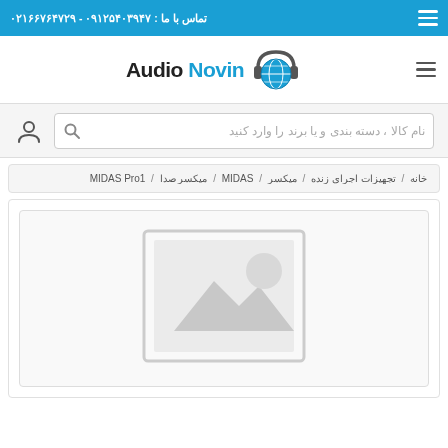تماس با ما : ۰۹۱۲۵۴۰۳۹۴۷ - ۰۲۱۶۶۷۶۴۷۲۹
[Figure (logo): Audio Novin logo with globe and headphones icon]
نام کالا ، دسته بندی و یا برند را وارد کنید
خانه / تجهیزات اجرای زنده / میکسر / MIDAS / میکسر صدا / MIDAS Pro1
[Figure (photo): Product placeholder image with mountain/landscape icon]